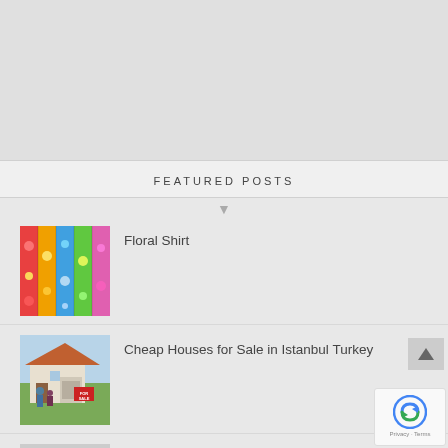FEATURED POSTS
[Figure (photo): Colorful floral shirts hanging on a rack]
Floral Shirt
[Figure (photo): Family standing in front of a house with a For Sale sign]
Cheap Houses for Sale in Istanbul Turkey
[Figure (photo): Partial view of a third post thumbnail — a scenic outdoor location]
The Grand Bazaar: Where Do You Find?